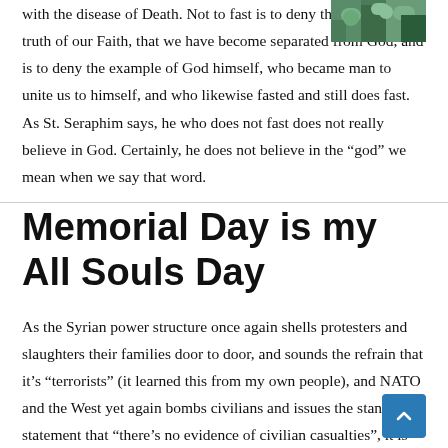with the disease of Death. Not to fast is to deny the most basic truth of our Faith, that we have become separated from God, and is to deny the example of God himself, who became man to unite us to himself, and who likewise fasted and still does fast. As St. Seraphim says, he who does not fast does not really believe in God. Certainly, he does not believe in the “god” we mean when we say that word.
[Figure (photo): Small photo of green foliage/leaves in upper right corner]
Memorial Day is my All Souls Day
As the Syrian power structure once again shells protesters and slaughters their families door to door, and sounds the refrain that it’s “terrorists” (it learned this from my own people), and NATO and the West yet again bombs civilians and issues the standard statement that “there’s no evidence of civilian casualties”, it is once again, Memorial Day in the United States.